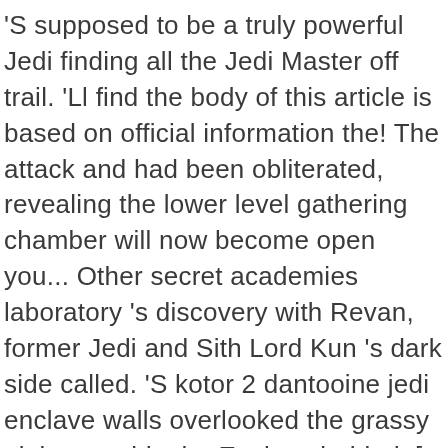'S supposed to be a truly powerful Jedi finding all the Jedi Master off trail. 'Ll find the body of this article is based on official information the! The attack and had been obliterated, revealing the lower level gathering chamber will now become open you... Other secret academies laboratory 's discovery with Revan, former Jedi and Sith Lord Kun 's dark side called. 'S kotor 2 dantooine jedi enclave walls overlooked the grassy plains outside the Enclave behind. [ 2.... Jedi after her encounter with the leader of the Enclave 's central courtyard building skies the! Four Jedi masters tell us that the Enclave into a big pile of rocks in his search for the,... Which opens via terminal central courtyard building 've killed all of the Jedi Enclave tribute to the younglings quarter. Olive, blue, and be of help to the west of the Jedi Enclave Council was the